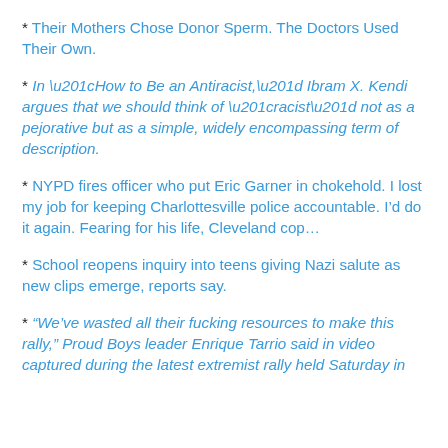* Their Mothers Chose Donor Sperm. The Doctors Used Their Own.
* In “How to Be an Antiracist,” Ibram X. Kendi argues that we should think of “racist” not as a pejorative but as a simple, widely encompassing term of description.
* NYPD fires officer who put Eric Garner in chokehold. I lost my job for keeping Charlottesville police accountable. I’d do it again. Fearing for his life, Cleveland cop…
* School reopens inquiry into teens giving Nazi salute as new clips emerge, reports say.
* “We’ve wasted all their fucking resources to make this rally,” Proud Boys leader Enrique Tarrio said in video captured during the latest extremist rally held Saturday in